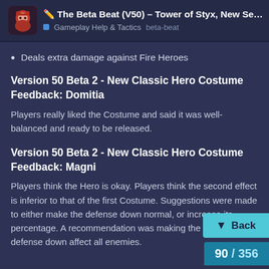✏️ The Beta Beat (V50) – Tower of Styx, New Sea... | Gameplay Help & Tactics  beta-beat
Deals extra damage against Fire Heroes
Version 50 Beta 2 - New Classic Hero Costume Feedback: Domitia
Players really liked the Costume and said it was well-balanced and ready to be released.
Version 50 Beta 2 - New Classic Hero Costume Feedback: Magni
Players think the Hero is okay. Players think the second effect is inferior to that of the first Costume. Suggestions were made to either make the defense down normal, or increase its percentage. A recommendation was making the defense down affect all enemies.
90 / 356